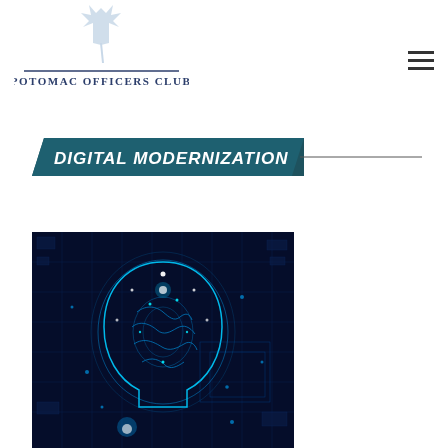[Figure (logo): Potomac Officers Club logo with maple leaf and text 'POTOMAC OFFICERS CLUB']
[Figure (other): Hamburger menu icon (three horizontal lines)]
DIGITAL MODERNIZATION
[Figure (photo): Digital illustration of a glowing blue human brain/head silhouette overlaid on a circuit board background, representing AI and digital modernization]